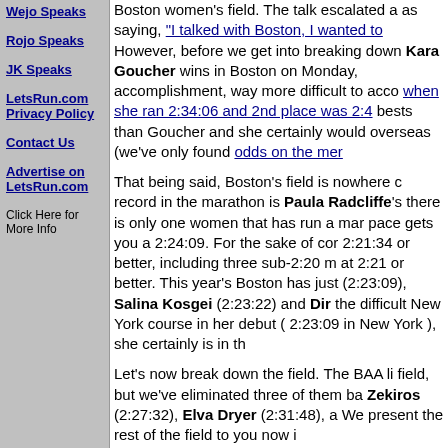Wejo Speaks
Rojo Speaks
JK Speaks
LetsRun.com Privacy Policy
Contact Us
Advertise on LetsRun.com
Click Here for More Info
Boston women's field. The talk escalated a as saying, "I talked with Boston, I wanted to However, before we get into breaking down Kara Goucher wins in Boston on Monday, accomplishment, way more difficult to acco when she ran 2:34:06 and 2nd place was 2:4 bests than Goucher and she certainly would overseas (we've only found odds on the mer
That being said, Boston's field is nowhere c record in the marathon is Paula Radcliffe's there is only one women that has run a mar pace gets you a 2:24:09. For the sake of cor 2:21:34 or better, including three sub-2:20 m at 2:21 or better. This year's Boston has just (2:23:09), Salina Kosgei (2:23:22) and Dir the difficult New York course in her debut ( 2:23:09 in New York ), she certainly is in th
Let's now break down the field. The BAA li field, but we've eliminated three of them ba Zekiros (2:27:32), Elva Dryer (2:31:48), a We present the rest of the field to you now i
1) Bezunesh Bekele (Ethiopia - 2:23:09). S